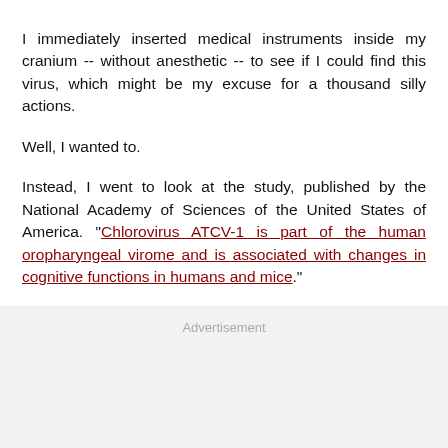I immediately inserted medical instruments inside my cranium -- without anesthetic -- to see if I could find this virus, which might be my excuse for a thousand silly actions.
Well, I wanted to.
Instead, I went to look at the study, published by the National Academy of Sciences of the United States of America. "Chlorovirus ATCV-1 is part of the human oropharyngeal virome and is associated with changes in cognitive functions in humans and mice."
Advertisement